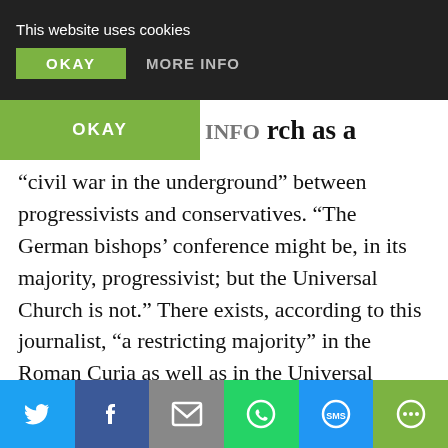This website uses cookies
OKAY   MORE INFO
“civil war in the underground” between progressivists and conservatives. “The German bishops’ conference might be, in its majority, progressivist; but the Universal Church is not.” There exists, according to this journalist, “a restricting majority” in the Roman Curia as well as in the Universal Church. Some of these restraining forces are driven by fear, others are “slothful,” some are “arch-conservative.” For Germany, these two camps are personified by Cardinal Reinhard Marx on the one side and Cardinal Rainer Woelki on the other side, according to Politi. Both have received
[Figure (screenshot): Social share bar with Twitter, Facebook, Email, WhatsApp, SMS, and More icons]